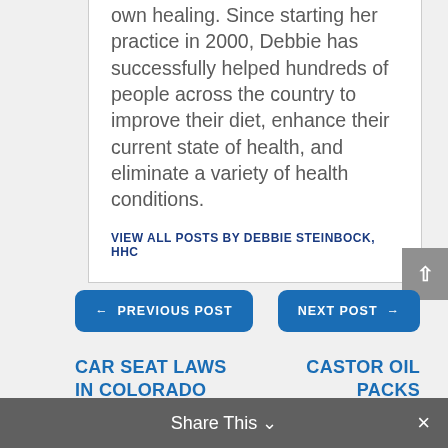own healing. Since starting her practice in 2000, Debbie has successfully helped hundreds of people across the country to improve their diet, enhance their current state of health, and eliminate a variety of health conditions.
VIEW ALL POSTS BY DEBBIE STEINBOCK, HHC
← PREVIOUS POST
NEXT POST →
CAR SEAT LAWS IN COLORADO
CASTOR OIL PACKS
Share This